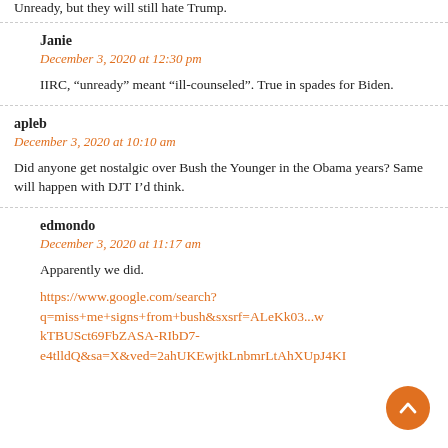Unready, but they will still hate Trump.
Janie
December 3, 2020 at 12:30 pm
IIRC, “unready” meant “ill-counseled”. True in spades for Biden.
apleb
December 3, 2020 at 10:10 am
Did anyone get nostalgic over Bush the Younger in the Obama years? Same will happen with DJT I’d think.
edmondo
December 3, 2020 at 11:17 am
Apparently we did.
https://www.google.com/search?q=miss+me+signs+from+bush&sxsrf=ALeKk03...kTBUSct69FbZASA-RIbD7-e4tlldQ&sa=X&ved=2ahUKEwjtkLnbmrLtAhXUpJ4KI